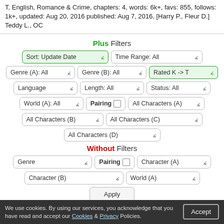T, English, Romance & Crime, chapters: 4, words: 6k+, favs: 855, follows: 1k+, updated: Aug 20, 2016 published: Aug 7, 2016, [Harry P., Fleur D.] Teddy L., OC
Plus Filters
Sort: Update Date
Time Range: All
Genre (A): All
Genre (B): All
Rated K -> T
Language
Length: All
Status: All
World (A): All
Pairing
All Characters (A)
All Characters (B)
All Characters (C)
All Characters (D)
Without Filters
Genre
Pairing
Character (A)
Character (B)
World (A)
Apply
We use cookies. By using our services, you acknowledge that you have read and accept our Cookies & Privacy Policies. Accept